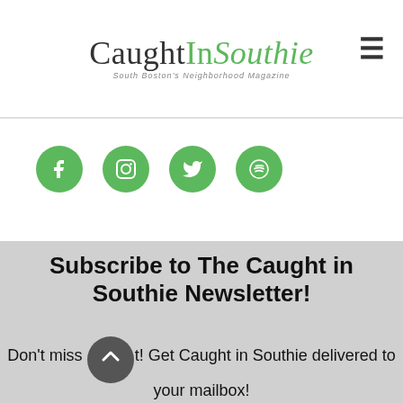CaughtInSouthie — South Boston's Neighborhood Magazine
[Figure (logo): CaughtInSouthie logo with green accent and hamburger menu icon]
[Figure (infographic): Four green circular social media icons: Facebook, Instagram, Twitter, Spotify]
Subscribe to The Caught in Southie Newsletter!
Don't miss out! Get Caught in Southie delivered to your mailbox!